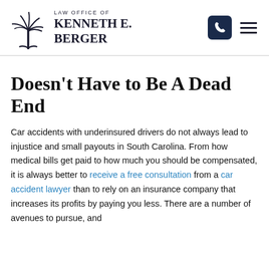Law Office of Kenneth E. Berger
Doesn't Have to Be A Dead End
Car accidents with underinsured drivers do not always lead to injustice and small payouts in South Carolina. From how medical bills get paid to how much you should be compensated, it is always better to receive a free consultation from a car accident lawyer than to rely on an insurance company that increases its profits by paying you less. There are a number of avenues to pursue, and...